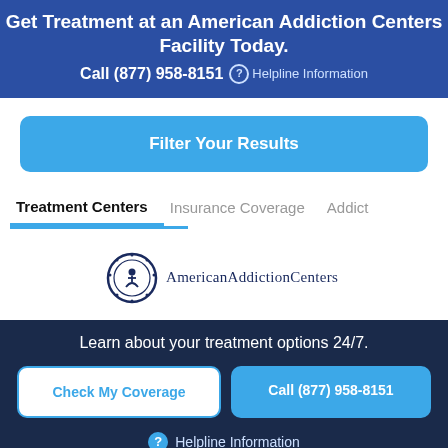Get Treatment at an American Addiction Centers Facility Today. Call (877) 958-8151  Helpline Information
Filter Your Results
Treatment Centers
Insurance Coverage
Addict
[Figure (logo): American Addiction Centers logo with circular emblem and text]
Learn about your treatment options 24/7.
Check My Coverage
Call (877) 958-8151
Helpline Information